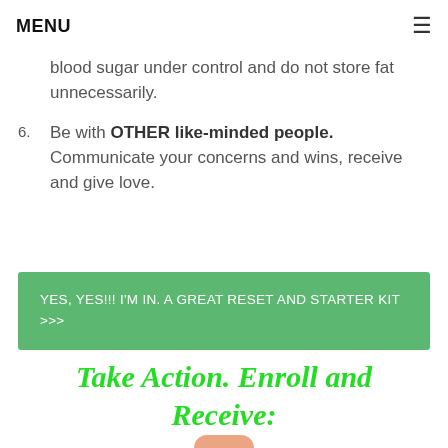MENU ≡
blood sugar under control and do not store fat unnecessarily.
6. Be with OTHER like-minded people. Communicate your concerns and wins, receive and give love.
YES, YES!!! I'M IN. A GREAT RESET AND STARTER KIT >>>
Take Action. Enroll and Receive: